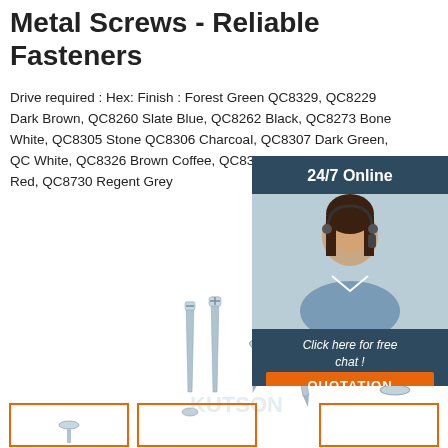Metal Screws - Reliable Fasteners
Drive required : Hex: Finish : Forest Green QC8329, QC8229 Dark Brown, QC8260 Slate Blue, QC8262 Black, QC8273 Bone White, QC8305 Stone QC8306 Charcoal, QC8307 Dark Green, QC White, QC8326 Brown Coffee, QC8330 Herc QC8386 Bright Red, QC8730 Regent Grey
[Figure (photo): Customer support agent photo with 24/7 Online chat widget and QUOTATION button overlay]
[Figure (photo): Various metal screws including self-tapping and countersunk screws displayed against white background with orange product category boxes at bottom]